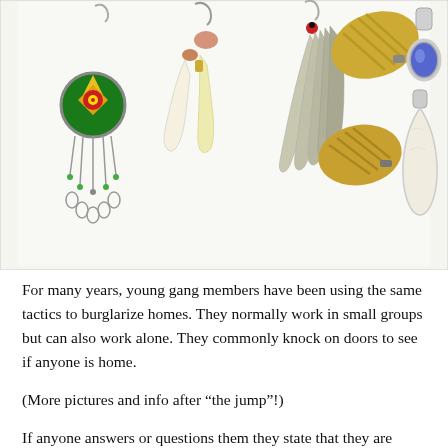[Figure (photo): Photo of various jewelry items including earrings (colorful medallion earring with dangling chains, white horn-shaped earrings, feather earrings), gold textured oval brooches/clips, and a silver pendant with blue stone and a white/ivory teardrop pendant, all on a white background.]
For many years, young gang members have been using the same tactics to burglarize homes. They normally work in small groups but can also work alone. They commonly knock on doors to see if anyone is home.
(More pictures and info after “the jump”!)
If anyone answers or questions them they state that they are looking for someone or selling something. If no one is home, they make entry through a window or door and